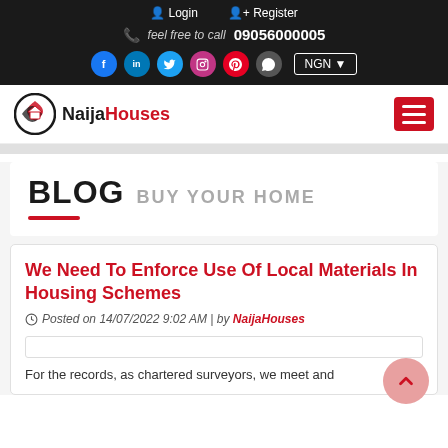Login  Register  feel free to call 09056000005  NGN
[Figure (logo): NaijaHouses logo with social media icons and NGN currency selector]
BLOG BUY YOUR HOME
We Need To Enforce Use Of Local Materials In Housing Schemes
Posted on 14/07/2022 9:02 AM | by NaijaHouses
For the records, as chartered surveyors, we meet and